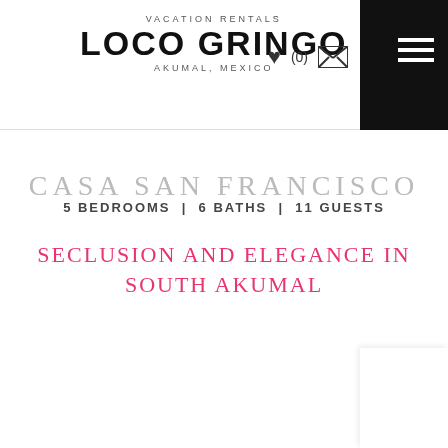VACATION RENTALS LOCO GRINGO AKUMAL, MEXICO
CASA SAN FRANCISCO
5 BEDROOMS | 6 BATHS | 11 GUESTS
SECLUSION AND ELEGANCE IN SOUTH AKUMAL
[Figure (photo): Exterior or interior photo of Casa San Francisco vacation rental property in South Akumal, Mexico — partially visible, mostly light gray placeholder area with a small white card overlay in the bottom right corner.]